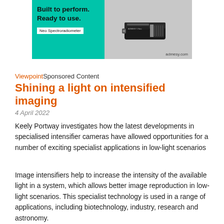[Figure (photo): Advertisement banner for admesy.com Neo Spectroradiometer. Left panel in teal/green with text 'Built to perform. Ready to use.' and 'Neo Spectroradiometer'. Right panel in grey showing the device photo and URL admesy.com.]
ViewpointSponsored Content
Shining a light on intensified imaging
4 April 2022
Keely Portway investigates how the latest developments in specialised intensifier cameras have allowed opportunities for a number of exciting specialist applications in low-light scenarios
Image intensifiers help to increase the intensity of the available light in a system, which allows better image reproduction in low-light scenarios. This specialist technology is used in a range of applications, including biotechnology, industry, research and astronomy.